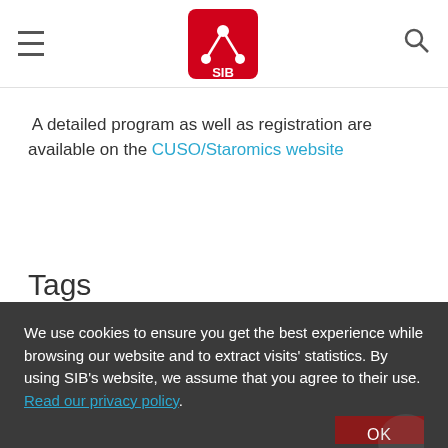SIB Swiss Institute of Bioinformatics header with menu, logo, search
A detailed program as well as registration are available on the CUSO/Staromics website
Tags
We use cookies to ensure you get the best experience while browsing our website and to extract visits' statistics. By using SIB's website, we assume that you agree to their use. Read our privacy policy.
The SIB Swiss Institute of Bioinformatics is an internationally recognized non-profit organization
Social share bar: Twitter, Facebook, LinkedIn, Email